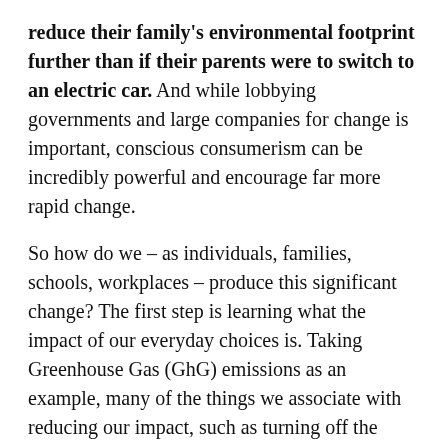reduce their family's environmental footprint further than if their parents were to switch to an electric car. And while lobbying governments and large companies for change is important, conscious consumerism can be incredibly powerful and encourage far more rapid change.
So how do we – as individuals, families, schools, workplaces – produce this significant change? The first step is learning what the impact of our everyday choices is. Taking Greenhouse Gas (GhG) emissions as an example, many of the things we associate with reducing our impact, such as turning off the lights when we leave a room or drying our clothes on the washing line, aren't actually major factors in our GhG footprints. While positive actions in themselves, they are a drop in the ocean compared to our indirect